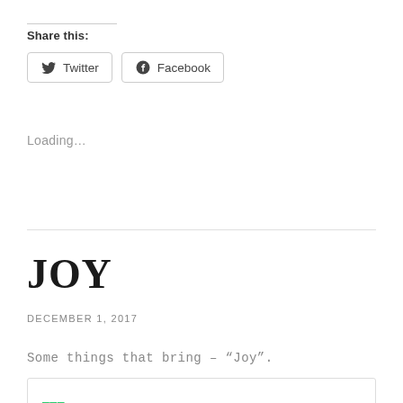Share this:
Twitter  Facebook
Loading...
JOY
DECEMBER 1, 2017
Some things that bring – “Joy”.